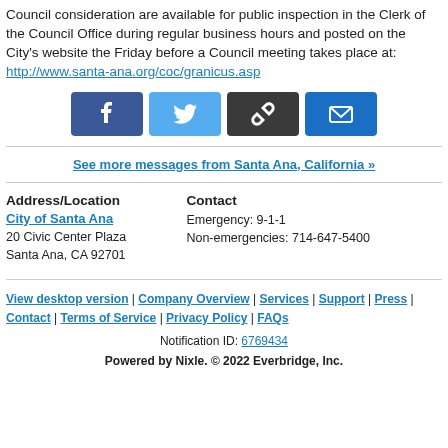Council consideration are available for public inspection in the Clerk of the Council Office during regular business hours and posted on the City's website the Friday before a Council meeting takes place at: http://www.santa-ana.org/coc/granicus.asp
[Figure (infographic): Social share buttons: Facebook, Twitter, link/chain icon, email]
See more messages from Santa Ana, California »
Address/Location
City of Santa Ana
20 Civic Center Plaza
Santa Ana, CA 92701

Contact
Emergency: 9-1-1
Non-emergencies: 714-647-5400
View desktop version | Company Overview | Services | Support | Press | Contact | Terms of Service | Privacy Policy | FAQs

Notification ID: 6769434

Powered by Nixle. © 2022 Everbridge, Inc.